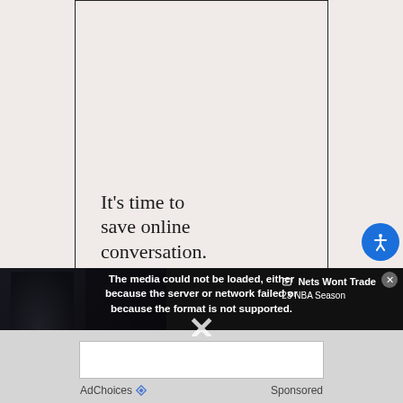[Figure (other): Advertisement panel with light pink/beige background, bordered box containing partial ad text reading 'It's time to save online conversation.']
It's time to save online conversation.
[Figure (screenshot): Video player error overlay showing 'The media could not be loaded, either because the server or network failed or because the format is not supported.' overlaid on dark sports video thumbnail. A news link reads 'Nets Wont Trade, 23 NBA Season' with close and link icon buttons.]
The media could not be loaded, either because the server or network failed or because the format is not supported.
Nets Wont Trade, 23 NBA Season
AdChoices   Sponsored